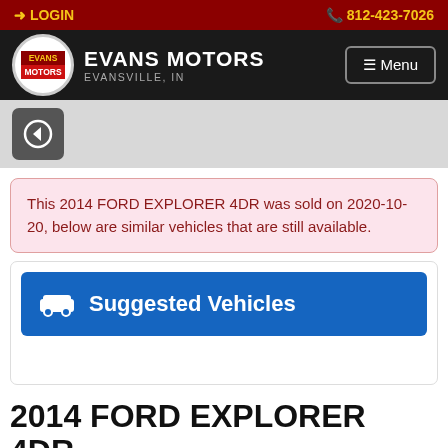LOGIN | 812-423-7026
EVANS MOTORS EVANSVILLE, IN | Menu
This 2014 FORD EXPLORER 4DR was sold on 2020-10-20, below are similar vehicles that are still available.
Suggested Vehicles
2014 FORD EXPLORER 4DR